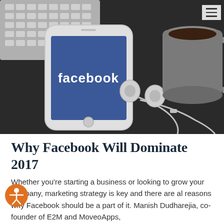[Figure (photo): Overhead desk scene: white iPhone showing Facebook app login screen with earbuds, keyboard, and coffee mug on a dark surface]
Why Facebook Will Dominate 2017
Whether you're starting a business or looking to grow your company, marketing strategy is key and there are al reasons why Facebook should be a part of it. Manish Dudharejia, co-founder of E2M and MoveoApps,